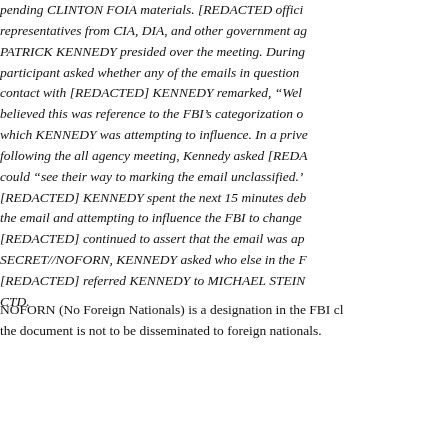pending CLINTON FOIA materials. [REDACTED offici representatives from CIA, DIA, and other government ag PATRICK KENNEDY presided over the meeting. During participant asked whether any of the emails in question contact with [REDACTED] KENNEDY remarked, "Wel believed this was reference to the FBI's categorization o which KENNEDY was attempting to influence. In a prive following the all agency meeting, Kennedy asked [REDA could "see their way to marking the email unclassified.' [REDACTED] KENNEDY spent the next 15 minutes deb the email and attempting to influence the FBI to change [REDACTED] continued to assert that the email was ap SECRET//NOFORN, KENNEDY asked who else in the F [REDACTED] referred KENNEDY to MICHAEL STEIN CTD.
NOFORN (No Foreign Nationals) is a designation in the FBI cl the document is not to be disseminated to foreign nationals.